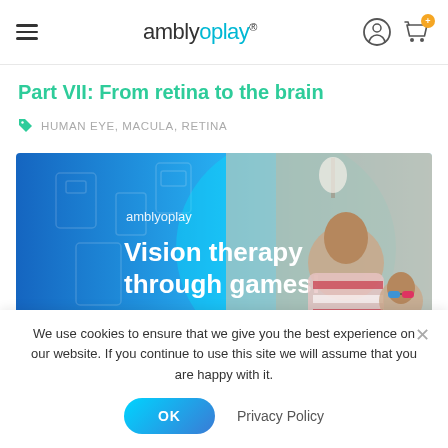amblyoplay®
Part VII: From retina to the brain
HUMAN EYE, MACULA, RETINA
[Figure (photo): AmblyoPlay banner advertisement showing a mother and child wearing 3D glasses with text 'Vision therapy through games!']
We use cookies to ensure that we give you the best experience on our website. If you continue to use this site we will assume that you are happy with it.
OK   Privacy Policy